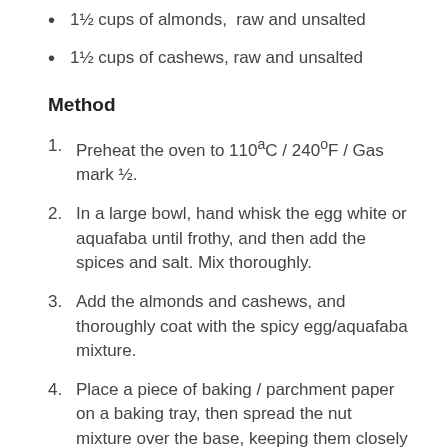1½ cups of almonds,  raw and unsalted
1½ cups of cashews, raw and unsalted
Method
1. Preheat the oven to 110ªC / 240ºF / Gas mark ½.
2. In a large bowl, hand whisk the egg white or aquafaba until frothy, and then add the spices and salt. Mix thoroughly.
3. Add the almonds and cashews, and thoroughly coat with the spicy egg/aquafaba mixture.
4. Place a piece of baking / parchment paper on a baking tray, then spread the nut mixture over the base, keeping them closely